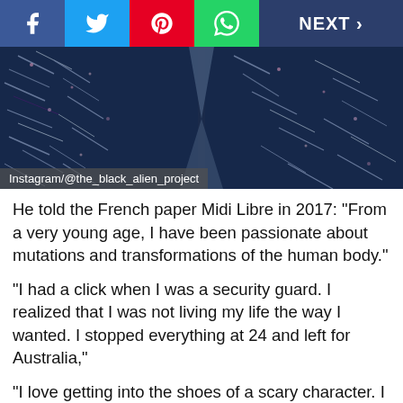[Figure (screenshot): Social media sharing bar with Facebook, Twitter, Pinterest, WhatsApp buttons and a NEXT > navigation button]
[Figure (photo): Close-up photo of heavily tattooed dark blue skin texture with caption 'Instagram/@the_black_alien_project']
Instagram/@the_black_alien_project
He told the French paper Midi Libre in 2017: “From a very young age, I have been passionate about mutations and transformations of the human body.”
“I had a click when I was a security guard. I realized that I was not living my life the way I wanted. I stopped everything at 24 and left for Australia,”
“I love getting into the shoes of a scary character. I often settle down somewhere and play a role,